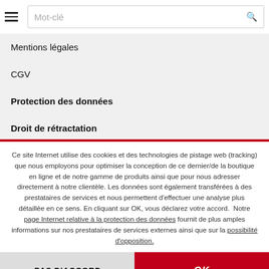[Figure (screenshot): Navigation bar with hamburger menu icon and search box labeled 'Mot-clé' with search icon]
Mentions légales
CGV
Protection des données
Droit de rétractation
Ce site Internet utilise des cookies et des technologies de pistage web (tracking) que nous employons pour optimiser la conception de ce dernier/de la boutique en ligne et de notre gamme de produits ainsi que pour nous adresser directement à notre clientèle. Les données sont également transférées à des prestataires de services et nous permettent d'effectuer une analyse plus détaillée en ce sens. En cliquant sur OK, vous déclarez votre accord. Notre page Internet relative à la protection des données fournit de plus amples informations sur nos prestataires de services externes ainsi que sur la possibilité d'opposition.
PAS D'ACCORD
OK